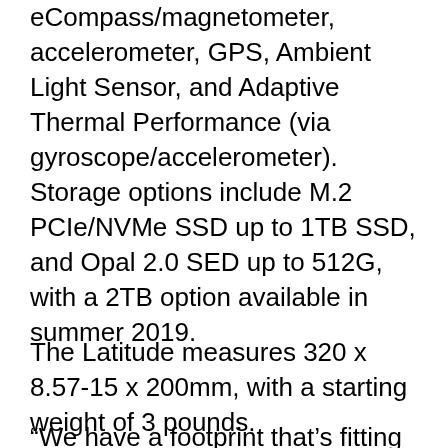eCompass/magnetometer, accelerometer, GPS, Ambient Light Sensor, and Adaptive Thermal Performance (via gyroscope/accelerometer).
Storage options include M.2 PCIe/NVMe SSD up to 1TB SSD, and Opal 2.0 SED up to 512G, with a 2TB option available in summer 2019.
The Latitude measures 320 x 8.57-15 x 200mm, with a starting weight of 3 pounds.
“We have a footprint that’s fitting a 14-inch screen into the size of a 13-inch device and doing it without sacrificing